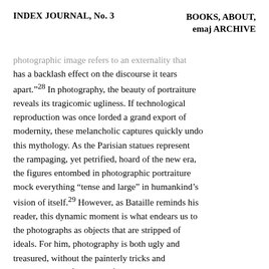INDEX JOURNAL, No. 3    BOOKS, ABOUT, emaj ARCHIVE
photographic image refers to an externality that has a backlash effect on the discourse it tears apart.”²⁸ In photography, the beauty of portraiture reveals its tragicomic ugliness. If technological reproduction was once lorded a grand export of modernity, these melancholic captures quickly undo this mythology. As the Parisian statues represent the rampaging, yet petrified, hoard of the new era, the figures entombed in photographic portraiture mock everything “tense and large” in humankind’s vision of itself.²⁹ However, as Bataille reminds his reader, this dynamic moment is what endears us to the photographs as objects that are stripped of ideals. For him, photography is both ugly and treasured, without the painterly tricks and transpositions of the beautiful. Their untimely reminders eternally open to moments of paradox, where a mundane reality is made magical in the